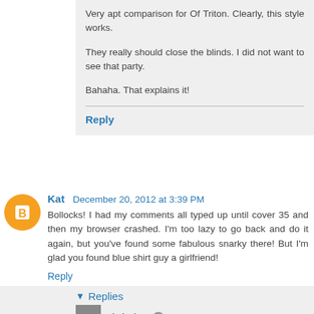Very apt comparison for Of Triton. Clearly, this style works.

They really should close the blinds. I did not want to see that party.

Bahaha. That explains it!
Reply
Kat  December 20, 2012 at 3:39 PM
Bollocks! I had my comments all typed up until cover 35 and then my browser crashed. I'm too lazy to go back and do it again, but you've found some fabulous snarky there! But I'm glad you found blue shirt guy a girlfriend!
Reply
Replies
Christina  December 20, 2012 at 3:42 PM